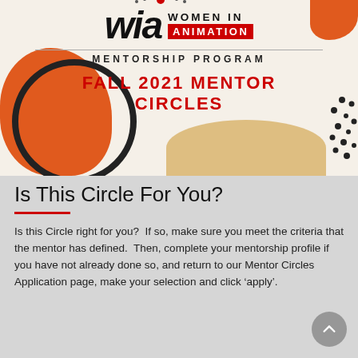[Figure (illustration): Women In Animation Mentorship Program banner with decorative abstract shapes in orange, tan, and black. Large 'wia' logo with red dot, 'WOMEN IN' text, red 'ANIMATION' badge, horizontal divider, 'MENTORSHIP PROGRAM' text, and 'FALL 2021 MENTOR CIRCLES' headline in red.]
Is This Circle For You?
Is this Circle right for you?  If so, make sure you meet the criteria that the mentor has defined.  Then, complete your mentorship profile if you have not already done so, and return to our Mentor Circles Application page, make your selection and click ‘apply’.